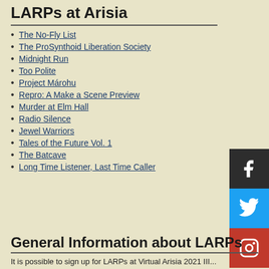LARPs at Arisia
The No-Fly List
The ProSynthoid Liberation Society
Midnight Run
Too Polite
Project Márohu
Repro: A Make a Scene Preview
Murder at Elm Hall
Radio Silence
Jewel Warriors
Tales of the Future Vol. 1
The Batcave
Long Time Listener, Last Time Caller
General Information about LARPs
It is possible to sign up for LARPs at Virtual Arisia 2021 III...